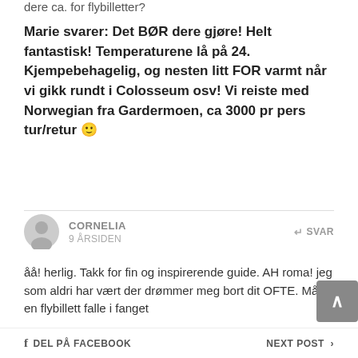dere ca. for flybilletter?
Marie svarer: Det BØR dere gjøre! Helt fantastisk! Temperaturene lå på 24. Kjempebehagelig, og nesten litt FOR varmt når vi gikk rundt i Colosseum osv! Vi reiste med Norwegian fra Gardermoen, ca 3000 pr pers tur/retur 🙂
CORNELIA
9 ÅRSIDEN
SVAR
åå! herlig. Takk for fin og inspirerende guide. AH roma! jeg som aldri har vært der drømmer meg bort dit OFTE. Måtte en flybillett falle i fanget
DEL PÅ FACEBOOK    NEXT POST >